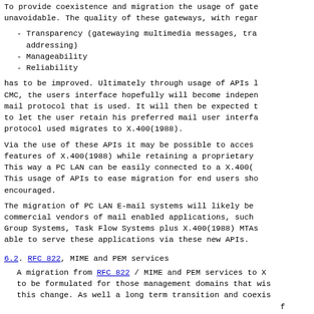To provide coexistence and migration the usage of gateways is unavoidable. The quality of these gateways, with regard to:
- Transparency (gatewaying multimedia messages, translation, addressing)
- Manageability
- Reliability
has to be improved. Ultimately through usage of APIs like CMC, the users interface hopefully will become independent of the mail protocol that is used. It will then be expected to be possible to let the user retain his preferred mail user interface, even if the protocol used migrates to X.400(1988).
Via the use of these APIs it may be possible to access features of X.400(1988) while retaining a proprietary user interface. This way a PC LAN can be easily connected to a X.400(1988) backbone. This usage of APIs to ease migration for end users should be encouraged.
The migration of PC LAN E-mail systems will likely be driven by commercial vendors of mail enabled applications, such as Workflow, Group Systems, Task Flow Systems plus X.400(1988) MTAs being able to serve these applications via these new APIs.
6.2. RFC 822, MIME and PEM services
A migration from RFC 822 / MIME and PEM services to X.400 needs to be formulated for those management domains that wish to make this change. As well a long term transition and coexistence strategy needs to be agreed to by the existing Internet community.